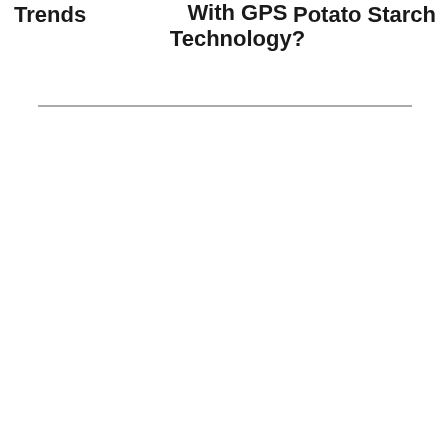Trends
With GPS Technology?
Potato Starch